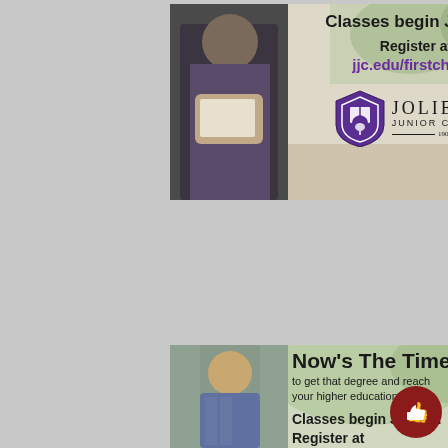[Figure (infographic): Joliet Junior College advertisement. Top banner with photo of person holding papers on left, text on right: 'Classes begin Jan. 11. Register at jjc.edu/firstchoice' with Joliet Junior College logo. Bottom banner with photo of smiling young man on left, text on right: 'Now's The Time to get that degree and reach your higher education goals. Classes begin Jan. 11. Register at']